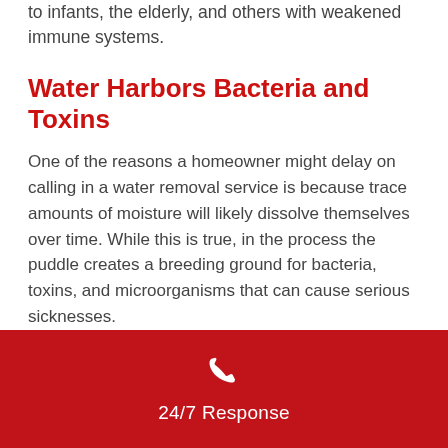to infants, the elderly, and others with weakened immune systems.
Water Harbors Bacteria and Toxins
One of the reasons a homeowner might delay on calling in a water removal service is because trace amounts of moisture will likely dissolve themselves over time. While this is true, in the process the puddle creates a breeding ground for bacteria, toxins, and microorganisms that can cause serious sicknesses.
Water Causes Structural
24/7 Response